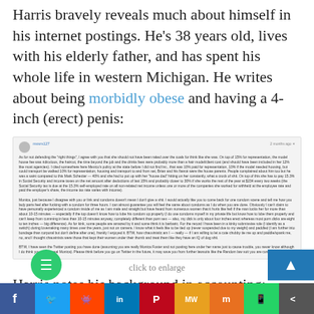Harris bravely reveals much about himself in his internet postings. He's 38 years old, lives with his elderly father, and has spent his whole life in western Michigan. He writes about being morbidly obese and having a 4-inch (erect) penis:
[Figure (screenshot): Screenshot of a forum/blog comment by user 'mxsrs127' with lengthy text about various personal topics including condoms, BDSM, and a Twitter note. Timestamp shown. Click to enlarge caption below.]
click to enlarge
Harris notes his background in accounting:
Social share bar: Facebook, Twitter, Reddit, LinkedIn, Pinterest, MW, Mix, WhatsApp, Share